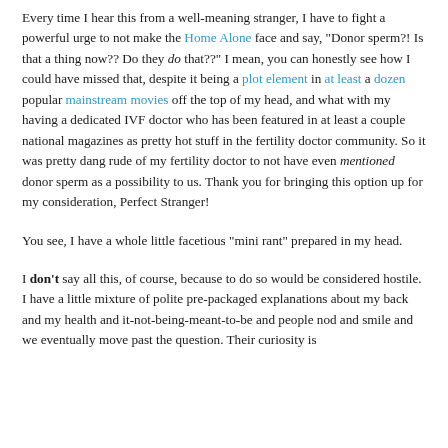Every time I hear this from a well-meaning stranger, I have to fight a powerful urge to not make the Home Alone face and say, "Donor sperm?! Is that a thing now?? Do they do that??" I mean, you can honestly see how I could have missed that, despite it being a plot element in at least a dozen popular mainstream movies off the top of my head, and what with my having a dedicated IVF doctor who has been featured in at least a couple national magazines as pretty hot stuff in the fertility doctor community. So it was pretty dang rude of my fertility doctor to not have even mentioned donor sperm as a possibility to us. Thank you for bringing this option up for my consideration, Perfect Stranger!
You see, I have a whole little facetious "mini rant" prepared in my head.
I don't say all this, of course, because to do so would be considered hostile. I have a little mixture of polite pre-packaged explanations about my back and my health and it-not-being-meant-to-be and people nod and smile and we eventually move past the question. Their curiosity is